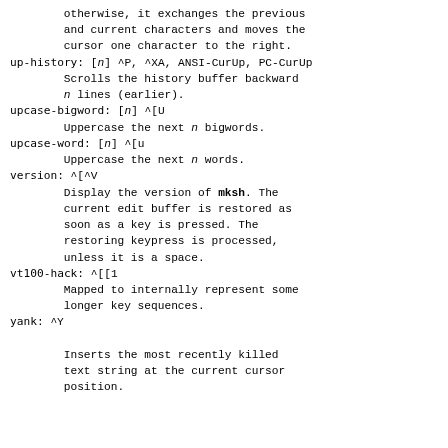otherwise, it exchanges the previous and current characters and moves the cursor one character to the right.
up-history: [n] ^P, ^XA, ANSI-CurUp, PC-CurUp
        Scrolls the history buffer backward
        n lines (earlier).
upcase-bigword: [n] ^[U
        Uppercase the next n bigwords.
upcase-word: [n] ^[u
        Uppercase the next n words.
version: ^[^V
        Display the version of mksh. The
        current edit buffer is restored as
        soon as a key is pressed. The
        restoring keypress is processed,
        unless it is a space.
vt100-hack: ^[[1
        Mapped to internally represent some
        longer key sequences.
yank: ^Y

        Inserts the most recently killed
        text string at the current cursor
        position.